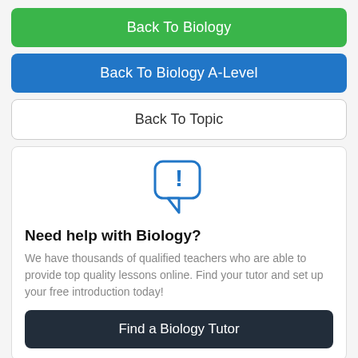Back To Biology
Back To Biology A-Level
Back To Topic
[Figure (illustration): Blue speech bubble icon with an exclamation mark inside]
Need help with Biology?
We have thousands of qualified teachers who are able to provide top quality lessons online. Find your tutor and set up your free introduction today!
Find a Biology Tutor
Related Questions